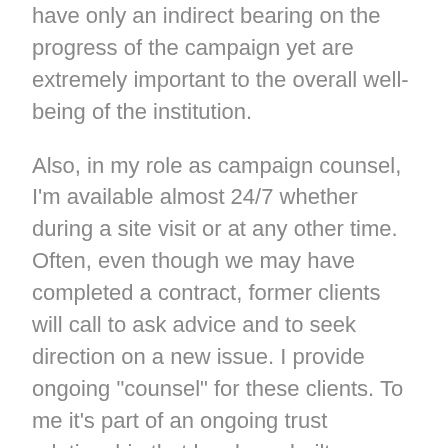have only an indirect bearing on the progress of the campaign yet are extremely important to the overall well-being of the institution.
Also, in my role as campaign counsel, I'm available almost 24/7 whether during a site visit or at any other time. Often, even though we may have completed a contract, former clients will call to ask advice and to seek direction on a new issue. I provide ongoing "counsel" for these clients. To me it's part of an ongoing trust relationship that has been built over time.
In this area, my claim is similar to that